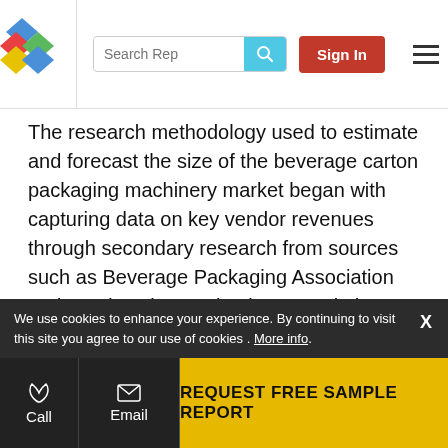[Figure (logo): Colorful diamond-shaped logo with blue, red, and green segments]
The research methodology used to estimate and forecast the size of the beverage carton packaging machinery market began with capturing data on key vendor revenues through secondary research from sources such as Beverage Packaging Association and Foodservice Packaging Association. Vendor offerings were taken into consideration to determine the market segmentation. The bottom-up procedure was employed to arrive at the overall size of the beverage carton packaging machinery market by estimating the revenue of key players. After arriving at the overall market size, the total market was split into several segments and subsegments, which were then
We use cookies to enhance your experience. By continuing to visit this site you agree to our use of cookies . More info.
REQUEST FREE SAMPLE REPORT